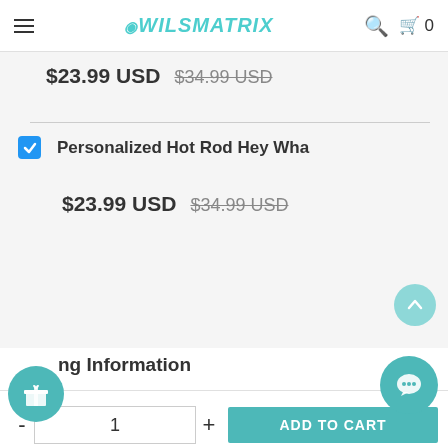OwlsMatrix - navigation header with hamburger menu, logo, search and cart icons
$23.99 USD $34.99 USD
Personalized Hot Rod Hey Wha
$23.99 USD $34.99 USD
ng Information
Description
- 1 + ADD TO CART